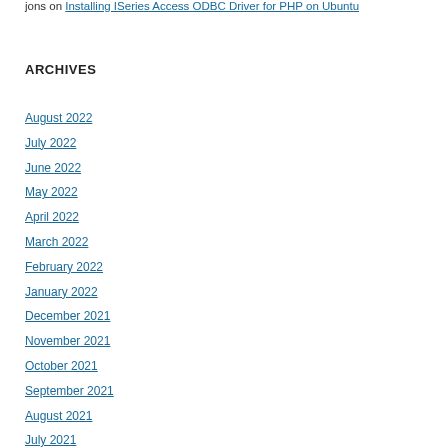jons on Installing ISeries Access ODBC Driver for PHP on Ubuntu
ARCHIVES
August 2022
July 2022
June 2022
May 2022
April 2022
March 2022
February 2022
January 2022
December 2021
November 2021
October 2021
September 2021
August 2021
July 2021